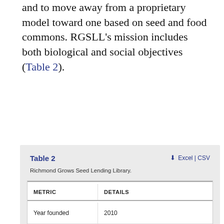and to move away from a proprietary model toward one based on seed and food commons. RGSLL's mission includes both biological and social objectives (Table 2).
Table 2
Richmond Grows Seed Lending Library.
| METRIC | DETAILS |
| --- | --- |
| Year founded | 2010 |
| Mission |  |